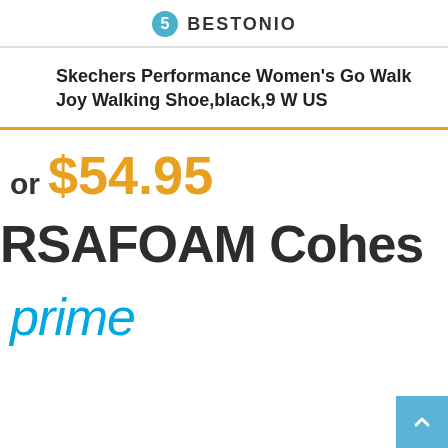BESTONIO
Skechers Performance Women's Go Walk Joy Walking Shoe,black,9 W US
or $54.95
RSAFOAM Cohes
prime